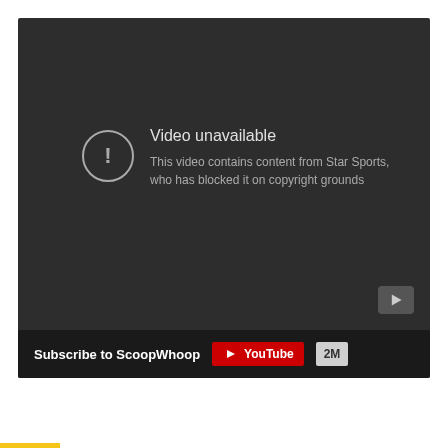[Figure (screenshot): YouTube video unavailable error screen. Dark background with a circle exclamation icon, text reading 'Video unavailable - This video contains content from Star Sports, who has blocked it on copyright grounds'. Below is a subscribe bar with 'Subscribe to ScoopWhoop' text, a red YouTube button, and '2M' subscriber count badge.]